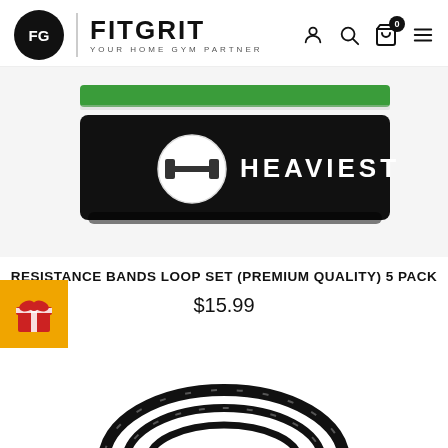FITGRIT - YOUR HOME GYM PARTNER
[Figure (photo): Black resistance band loop with white circle logo showing a barbell and the word HEAVIEST in white text, with a green band visible above it]
RESISTANCE BANDS LOOP SET (PREMIUM QUALITY) 5 PACK
$15.99
[Figure (photo): Orange square with red gift box icon (bow on top)]
[Figure (photo): Partial view of black resistance bands or jump rope coiled, visible at bottom of page]